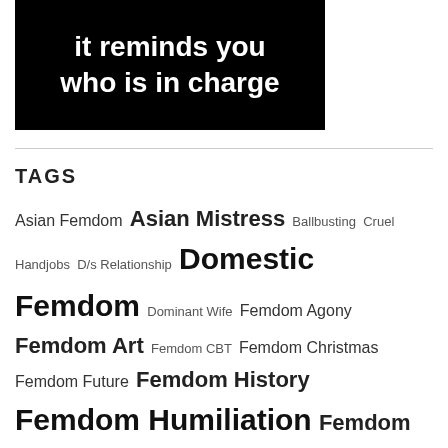[Figure (other): Black background image with bold white text reading 'it reminds you who is in charge']
TAGS
Asian Femdom Asian Mistress Ballbusting Cruel Handjobs D/s Relationship Domestic Femdom Dominant Wife Femdom Agony Femdom Art Femdom CBT Femdom Christmas Femdom Future Femdom History Femdom Humiliation Femdom Lifestyle Femdom Marriage Femdom Pain Femdom Prison Femdom Property Femdom Punishment Femdom Queen Femdom Rules Femdom Session Femdom Slave Femdom Slavery